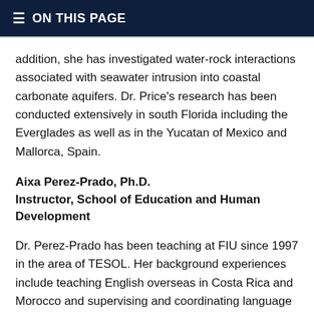ON THIS PAGE
addition, she has investigated water-rock interactions associated with seawater intrusion into coastal carbonate aquifers. Dr. Price's research has been conducted extensively in south Florida including the Everglades as well as in the Yucatan of Mexico and Mallorca, Spain.
Aixa Perez-Prado, Ph.D.
Instructor, School of Education and Human Development
Dr. Perez-Prado has been teaching at FIU since 1997 in the area of TESOL. Her background experiences include teaching English overseas in Costa Rica and Morocco and supervising and coordinating language and teaching programs in both countries. She is currently the ESOL